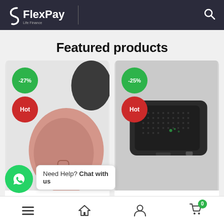FlexPay
Featured products
[Figure (screenshot): Product card 1: wireless mouse in pink/rose color with -27% discount badge and Hot badge]
[Figure (screenshot): Product card 2: portable Bluetooth speaker in dark gray with -25% discount badge and Hot badge]
Need Help? Chat with us